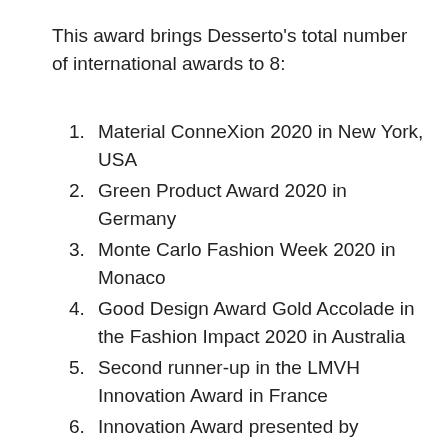This award brings Desserto's total number of international awards to 8:
Material ConneXion 2020 in New York, USA
Green Product Award 2020 in Germany
Monte Carlo Fashion Week 2020 in Monaco
Good Design Award Gold Accolade in the Fashion Impact 2020 in Australia
Second runner-up in the LMVH Innovation Award in France
Innovation Award presented by Samsung Design Icons 2020, Architectural Digest Mexico and Latin…